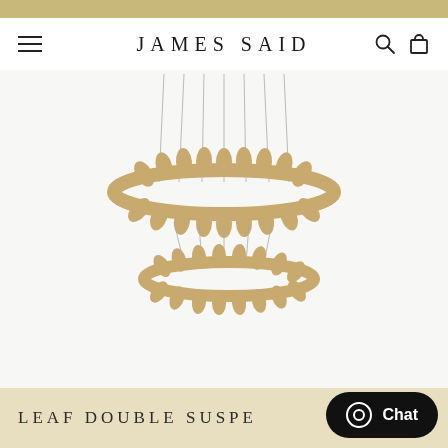JAMES SAID
[Figure (photo): Two-tiered circular pendant chandelier with gold leaf petal details hanging from thin cables against a white background. The upper ring is larger and both rings feature decorative leaf-shaped elements around their circumference.]
LEAF DOUBLE SUSPE…
Chat